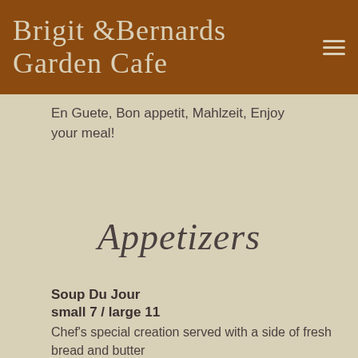Brigit & Bernards Garden Cafe
En Guete, Bon appetit, Mahlzeit, Enjoy your meal!
Appetizers
Soup Du Jour
small 7 / large 11
Chef's special creation served with a side of fresh bread and butter